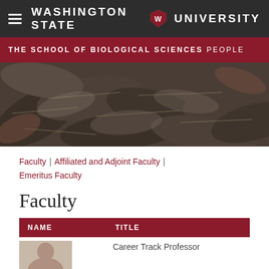Washington State University
THE SCHOOL OF BIOLOGICAL SCIENCES PEOPLE
[Figure (photo): Close-up photo of dark green and silver patterned plant leaves]
Faculty | Affiliated and Adjoint Faculty | Emeritus Faculty
Faculty
| NAME | TITLE |
| --- | --- |
| [photo] | Career Track Professor |